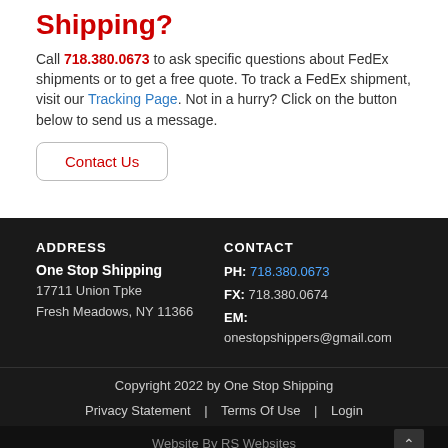Shipping?
Call 718.380.0673 to ask specific questions about FedEx shipments or to get a free quote. To track a FedEx shipment, visit our Tracking Page. Not in a hurry? Click on the button below to send us a message.
Contact Us
ADDRESS
One Stop Shipping
17711 Union Tpke
Fresh Meadows, NY 11366
CONTACT
PH: 718.380.0673
FX: 718.380.0674
EM: onestopshippers@gmail.com
Copyright 2022 by One Stop Shipping
Privacy Statement | Terms Of Use | Login
Website By RS Websites